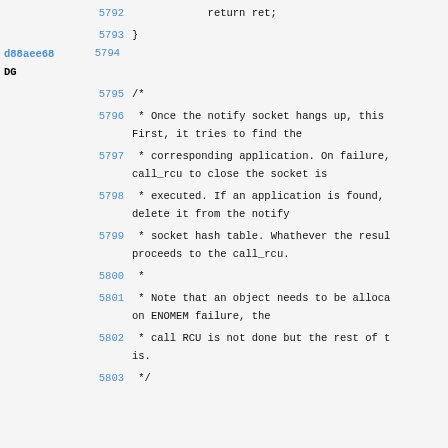5792    return ret;
5793 }
d88aee68 5794
DG
5795 /*
5796  * Once the notify socket hangs up, this First, it tries to find the
5797  * corresponding application. On failure, call_rcu to close the socket is
5798  * executed. If an application is found, delete it from the notify
5799  * socket hash table. Whathever the result, proceeds to the call_rcu.
5800  *
5801  * Note that an object needs to be allocated on ENOMEM failure, the
5802  * call RCU is not done but the rest of the is.
5803  */